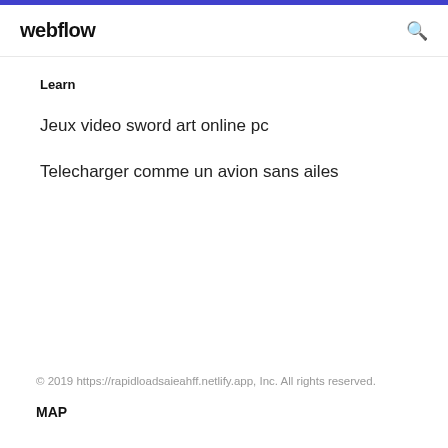webflow
Learn
Jeux video sword art online pc
Telecharger comme un avion sans ailes
© 2019 https://rapidloadsaieahff.netlify.app, Inc. All rights reserved.
MAP